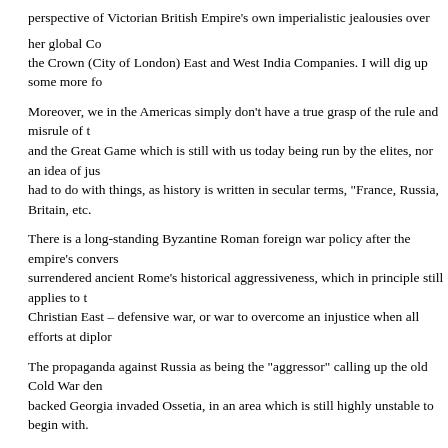perspective of Victorian British Empire's own imperialistic jealousies over her global Co... the Crown (City of London) East and West India Companies. I will dig up some more fo...
Moreover, we in the Americas simply don't have a true grasp of the rule and misrule of t... and the Great Game which is still with us today being run by the elites, nor an idea of jus... had to do with things, as history is written in secular terms, "France, Russia, Britain, etc.
There is a long-standing Byzantine Roman foreign war policy after the empire's convers... surrendered ancient Rome's historical aggressiveness, which in principle still applies to t... Christian East – defensive war, or war to overcome an injustice when all efforts at diplor...
The propaganda against Russia as being the "aggressor" calling up the old Cold War den... backed Georgia invaded Ossetia, in an area which is still highly unstable to begin with.
Although the Holy Tsars may certainly have had political and material aspirations, they w... what they understood as a divine mission. Nor were they particularly ever interested in c...
Of overwhelming concern was the defense of the Orthodox Faith in Balkans that formed... Commonwealth, and liberation from the Ottoman Yoke under which Christians had suffe... statue of Tsar-Liberator Alexander II still stands in Sophia, Bulgaria.
In the Greek Church traditions, you would find the story of the Moonlight Schools for ex... was kept alive because the young students secretly traveled by night to monasteries to re... what home-schooling mothers could provide. This was only typical of life of the majorit... and villagers. Before the fall of Constantinople, there was compulsory basic education, a... board was fairly literate, regardless of caste.
Another historical aspect, for example, was the Sultan's "taxation of blood", when very v...